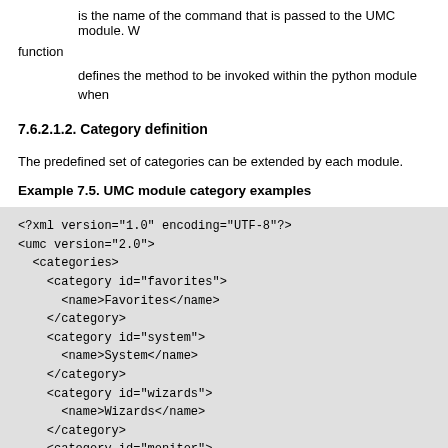is the name of the command that is passed to the UMC module. W
function
defines the method to be invoked within the python module when
7.6.2.1.2. Category definition
The predefined set of categories can be extended by each module.
Example 7.5. UMC module category examples
[Figure (screenshot): XML code block showing UMC module category examples with favorites, system, wizards, and monitor categories]